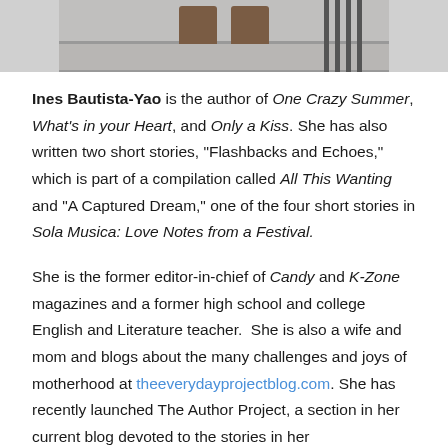[Figure (photo): Cropped photo showing feet/shoes at the top of the page, partial view of a staircase railing on the right side]
Ines Bautista-Yao is the author of One Crazy Summer, What's in your Heart, and Only a Kiss. She has also written two short stories, “Flashbacks and Echoes,” which is part of a compilation called All This Wanting and “A Captured Dream,” one of the four short stories in Sola Musica: Love Notes from a Festival.
She is the former editor-in-chief of Candy and K-Zone magazines and a former high school and college English and Literature teacher.  She is also a wife and mom and blogs about the many challenges and joys of motherhood at theeverydayprojectblog.com. She has recently launched The Author Project, a section in her current blog devoted to the stories in her